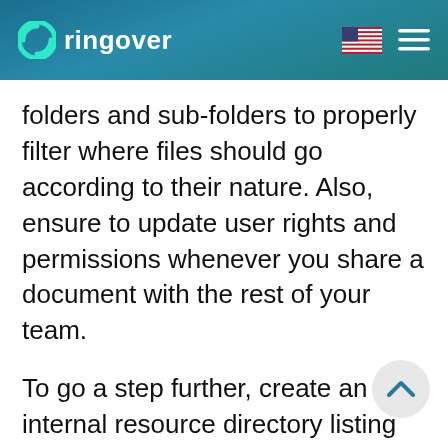ringover
folders and sub-folders to properly filter where files should go according to their nature. Also, ensure to update user rights and permissions whenever you share a document with the rest of your team.
To go a step further, create an internal resource directory listing all of the shared documents available to employees within your company. Ensure to include clear instructions or direct links to where they be located. This method of organising shared files would help save you and